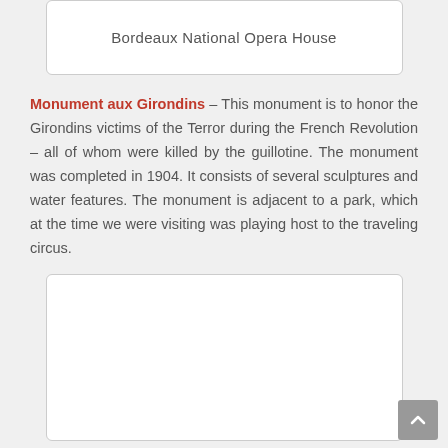[Figure (other): Image placeholder box with text 'Bordeaux National Opera House']
Monument aux Girondins – This monument is to honor the Girondins victims of the Terror during the French Revolution – all of whom were killed by the guillotine. The monument was completed in 1904. It consists of several sculptures and water features. The monument is adjacent to a park, which at the time we were visiting was playing host to the traveling circus.
[Figure (photo): Image placeholder box (empty photo of Monument aux Girondins area)]